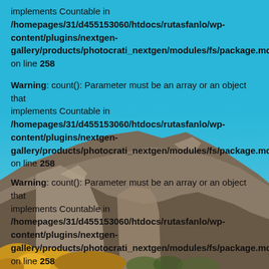[Figure (photo): Photograph of a rocky mountain range with blue sky in the upper portion and autumn-colored trees (yellow/orange) at the base. The image is overlaid with PHP warning messages.]
implements Countable in /homepages/31/d455153060/htdocs/rutasfanlo/wp-content/plugins/nextgen-gallery/products/photocrati_nextgen/modules/fs/package.module.fs. on line 258
Warning: count(): Parameter must be an array or an object that implements Countable in /homepages/31/d455153060/htdocs/rutasfanlo/wp-content/plugins/nextgen-gallery/products/photocrati_nextgen/modules/fs/package.module.fs. on line 258
Warning: count(): Parameter must be an array or an object that implements Countable in /homepages/31/d455153060/htdocs/rutasfanlo/wp-content/plugins/nextgen-gallery/products/photocrati_nextgen/modules/fs/package.module.fs. on line 258
Warning: count(): Parameter must be an array or an object...